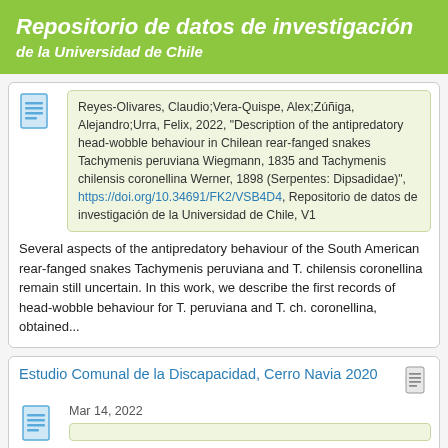Repositorio de datos de investigación de la Universidad de Chile
Reyes-Olivares, Claudio;Vera-Quispe, Alex;Zúñiga, Alejandro;Urra, Felix, 2022, "Description of the antipredatory head-wobble behaviour in Chilean rear-fanged snakes Tachymenis peruviana Wiegmann, 1835 and Tachymenis chilensis coronellina Werner, 1898 (Serpentes: Dipsadidae)", https://doi.org/10.34691/FK2/VSB4D4, Repositorio de datos de investigación de la Universidad de Chile, V1
Several aspects of the antipredatory behaviour of the South American rear-fanged snakes Tachymenis peruviana and T. chilensis coronellina remain still uncertain. In this work, we describe the first records of head-wobble behaviour for T. peruviana and T. ch. coronellina, obtained...
Estudio Comunal de la Discapacidad, Cerro Navia 2020
Mar 14, 2022